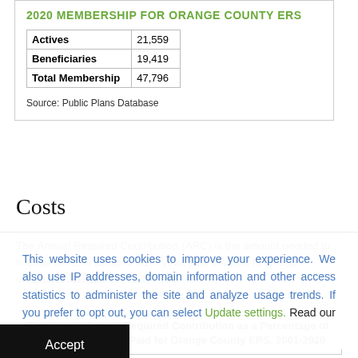2020 MEMBERSHIP FOR ORANGE COUNTY ERS
|  |  |
| --- | --- |
| Actives | 21,559 |
| Beneficiaries | 19,419 |
| Total Membership | 47,796 |
Source: Public Plans Database
Costs
The Annual Required Contribution (ARC) is the amount needed to finance benefits accrued each year, plus the cost to amortize unfunded liabilities f... Read more »
Employer's Annual Required Contribution as a Percentage of Payroll and Portion Paid for Orange County ERS, 2001-2020
This website uses cookies to improve your experience. We also use IP addresses, domain information and other access statistics to administer the site and analyze usage trends. If you prefer to opt out, you can select Update settings. Read our Privacy Policy.
Accept